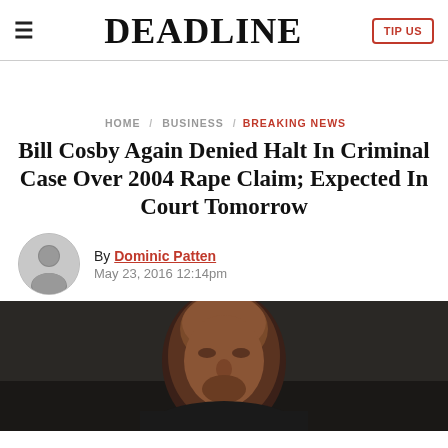≡  DEADLINE  TIP US
HOME / BUSINESS / BREAKING NEWS
Bill Cosby Again Denied Halt In Criminal Case Over 2004 Rape Claim; Expected In Court Tomorrow
By Dominic Patten
May 23, 2016 12:14pm
[Figure (photo): Close-up photo of Bill Cosby, an elderly Black man, photographed against a dark background. His head is visible from the brow down, showing a bald head and facial features.]